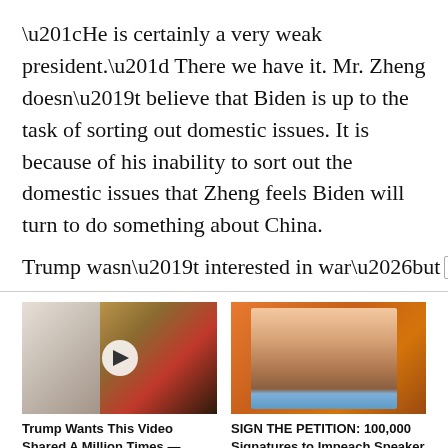“He is certainly a very weak president.” There we have it. Mr. Zheng doesn’t believe that Biden is up to the task of sorting out domestic issues. It is because of his inability to sort out the domestic issues that Zheng feels Biden will turn to do something about China.
Trump wasn’t interested in war…but [Promoted ×] en
[Figure (photo): Promoted ad image showing Trump and Melania with a video play button overlay]
Trump Wants This Video Shared A Million Times — Watch Now Before It’s Banned!
🔥 25,809
[Figure (photo): Promoted ad image showing Nancy Pelosi]
SIGN THE PETITION: 100,000 Signatures to Impeach Speaker Nancy Pelosi
🔥 49,083